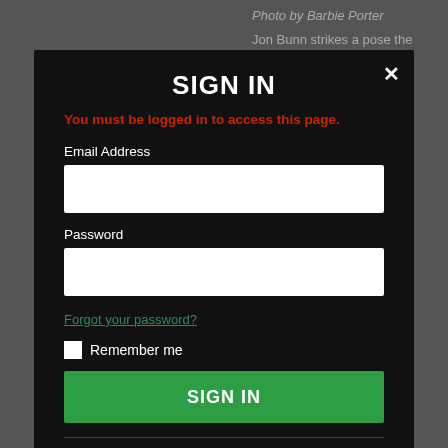[Figure (screenshot): Background webpage screenshot showing photo caption text: 'Photo by Barbie Porter' and partial article text about Jon Bunn in a Wizard of Oz musical at Frazee High School, partially obscured by a sign-in modal overlay.]
SIGN IN
You must be logged in to access this page.
Email Address
Password
Forgot your password?
Remember me
SIGN IN
Don't have an account?